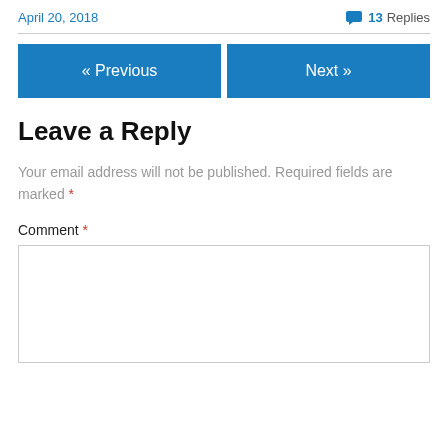April 20, 2018   💬 13 Replies
Leave a Reply
Your email address will not be published. Required fields are marked *
Comment *